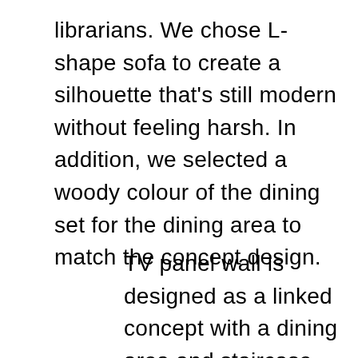librarians. We chose L- shape sofa to create a silhouette that's still modern without feeling harsh. In addition, we selected a woody colour of the dining set for the dining area to match the concept design.
TV panel wall is designed as a linked concept with a dining area and staircase.